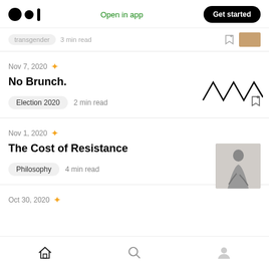Medium logo | Open in app | Get started
transgender  3 min read
Nov 7, 2020 ★
No Brunch.
Election 2020  2 min read
Nov 1, 2020 ★
The Cost of Resistance
Philosophy  4 min read
Oct 30, 2020 ★
Home | Search | Profile